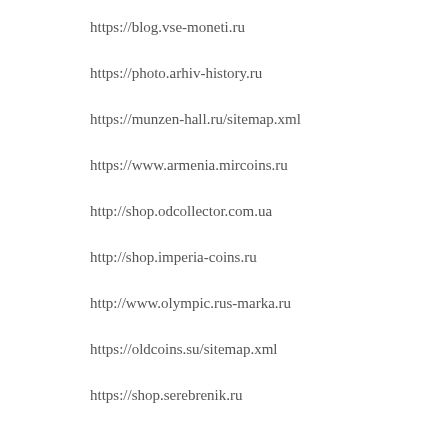https://blog.vse-moneti.ru
https://photo.arhiv-history.ru
https://munzen-hall.ru/sitemap.xml
https://www.armenia.mircoins.ru
http://shop.odcollector.com.ua
http://shop.imperia-coins.ru
http://www.olympic.rus-marka.ru
https://oldcoins.su/sitemap.xml
https://shop.serebrenik.ru